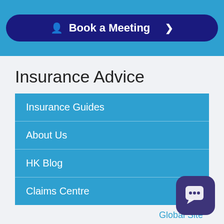[Figure (screenshot): Blue banner with 'Book a Meeting' button with dark navy background, person icon, and right arrow]
Insurance Advice
Insurance Guides
About Us
HK Blog
Claims Centre
Global Site
Insurers
[Figure (illustration): Purple rounded square chat bubble icon with ellipsis dots]